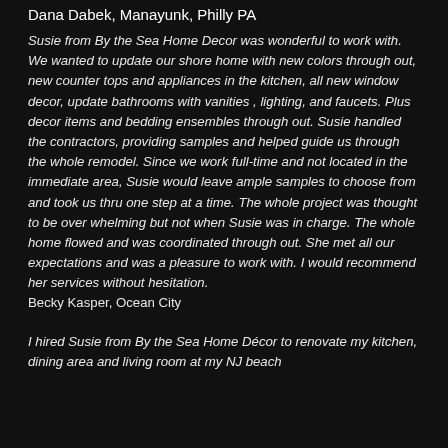Dana Dabek, Manayunk, Philly PA
Susie from By the Sea Home Decor was wonderful to work with. We wanted to update our shore home with new colors through out, new counter tops and appliances in the kitchen, all new window decor, update bathrooms with vanities , lighting, and faucets. Plus decor items and bedding ensembles through out. Susie handled the contractors, providing samples and helped guide us through the whole remodel. Since we work full-time and not located in the immediate area, Susie would leave ample samples to choose from and took us thru one step at a time. The whole project was thought to be over whelming but not when Susie was in charge. The whole home flowed and was coordinated through out. She met all our expectations and was a pleasure to work with. I would recommend her services without hesitation.
Becky Kasper, Ocean City
I hired Susie from By the Sea Home Décor to renovate my kitchen, dining area and living room at my NJ beach